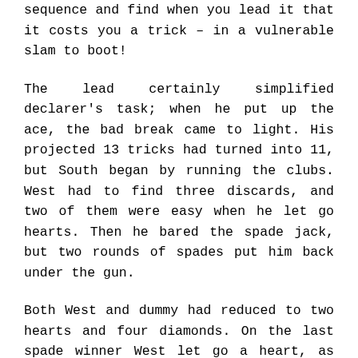sequence and find when you lead it that it costs you a trick – in a vulnerable slam to boot!
The lead certainly simplified declarer's task; when he put up the ace, the bad break came to light. His projected 13 tricks had turned into 11, but South began by running the clubs. West had to find three discards, and two of them were easy when he let go hearts. Then he bared the spade jack, but two rounds of spades put him back under the gun.
Both West and dummy had reduced to two hearts and four diamonds. On the last spade winner West let go a heart, as did dummy. Declarer led a diamond to the eight and king,